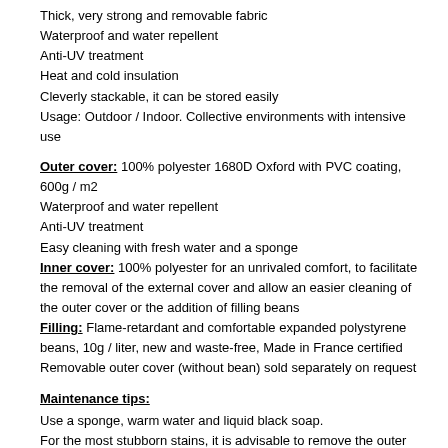Thick, very strong and removable fabric
Waterproof and water repellent
Anti-UV treatment
Heat and cold insulation
Cleverly stackable, it can be stored easily
Usage: Outdoor / Indoor. Collective environments with intensive use
Outer cover: 100% polyester 1680D Oxford with PVC coating, 600g / m2
Waterproof and water repellent
Anti-UV treatment
Easy cleaning with fresh water and a sponge
Inner cover: 100% polyester for an unrivaled comfort, to facilitate the removal of the external cover and allow an easier cleaning of the outer cover or the addition of filling beans
Filling: Flame-retardant and comfortable expanded polystyrene beans, 10g / liter, new and waste-free, Made in France certified
Removable outer cover (without bean) sold separately on request
Maintenance tips:
Use a sponge, warm water and liquid black soap.
For the most stubborn stains, it is advisable to remove the outer cover before cleaning and to use a brush.
Pass your Baggysmith from time to time under a jet of water to remove